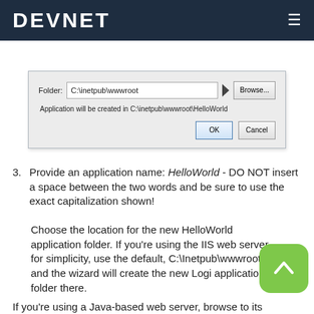DEVNET
[Figure (screenshot): Dialog box showing Folder field with 'C:\inetpub\wwwroot' and a Browse button, text 'Application will be created in C:\inetpub\wwwroot\HelloWorld', and OK/Cancel buttons.]
3. Provide an application name: HelloWorld - DO NOT insert a space between the two words and be sure to use the exact capitalization shown!
Choose the location for the new HelloWorld application folder. If you're using the IIS web server, for simplicity, use the default, C:\Inetpub\wwwroot, and the wizard will create the new Logi application folder there.
If you're using a Java-based web server, browse to its